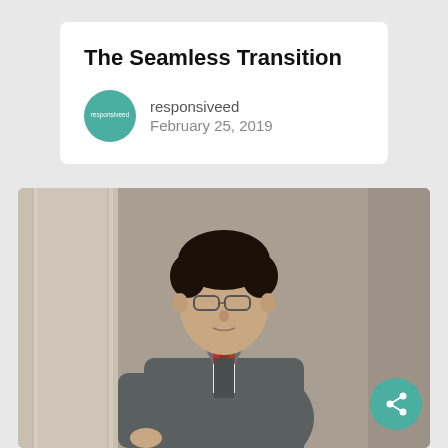The Seamless Transition
responsiveed
February 25, 2019
[Figure (photo): Young man wearing glasses, a grey suit with vest, white dress shirt, and a red bow tie, standing in front of stone columns.]